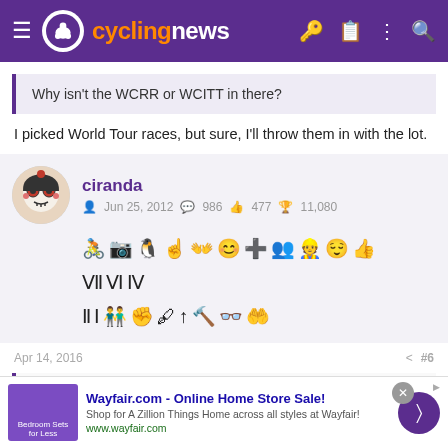[Figure (screenshot): Cyclingnews website header with purple background, hamburger menu, cycling logo, and site name in orange and white]
Why isn't the WCRR or WCITT in there?
I picked World Tour races, but sure, I'll throw them in with the lot.
ciranda
Jun 25, 2012  986  477  11,080
[Figure (infographic): Row of user badge/achievement icons]
Apr 14, 2016  #6
CheeMaBomesaid
[Figure (screenshot): Wayfair.com advertisement banner - Online Home Store Sale!]